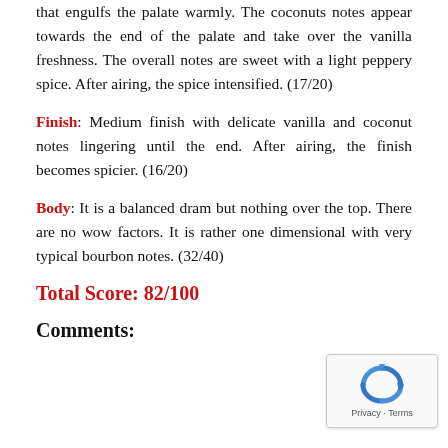that engulfs the palate warmly. The coconuts notes appear towards the end of the palate and take over the vanilla freshness. The overall notes are sweet with a light peppery spice. After airing, the spice intensified. (17/20)
Finish: Medium finish with delicate vanilla and coconut notes lingering until the end. After airing, the finish becomes spicier. (16/20)
Body: It is a balanced dram but nothing over the top. There are no wow factors. It is rather one dimensional with very typical bourbon notes. (32/40)
Total Score: 82/100
Comments: